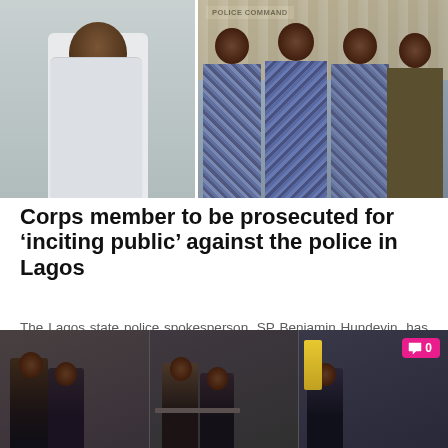[Figure (photo): Top image showing a young man in white t-shirt with backpack on the left, and three police/law enforcement officers in camouflage uniforms and one in khaki uniform on the right, standing in front of a building with a sign reading 'POLICE COMMAND']
Corps member to be prosecuted for 'inciting public' against the police in Lagos
The Lagos state police spokesperson, SP Benjamin Hundeyin, has revealed a corps member will be prosecuted for inciting the public against some police officers in the state. A few days ago,...
[Figure (photo): Bottom image showing a classroom scene with students seated at desks, appearing to be in a school or examination hall setting, with a pink comment count badge showing '0' in the top right corner]